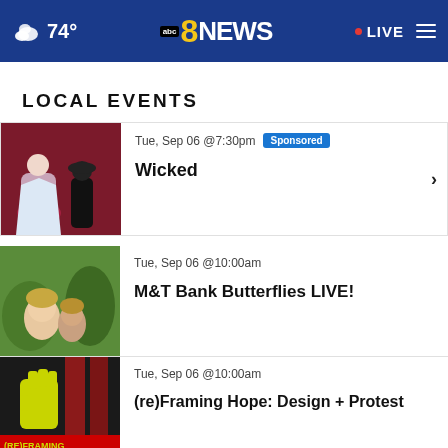74° abc8NEWS LIVE
LOCAL EVENTS
Tue, Sep 06 @7:30pm Sponsored
Wicked
Tue, Sep 06 @10:00am
M&T Bank Butterflies LIVE!
Tue, Sep 06 @10:00am
(re)Framing Hope: Design + Protest
Tue, Sep 06 @9:30am